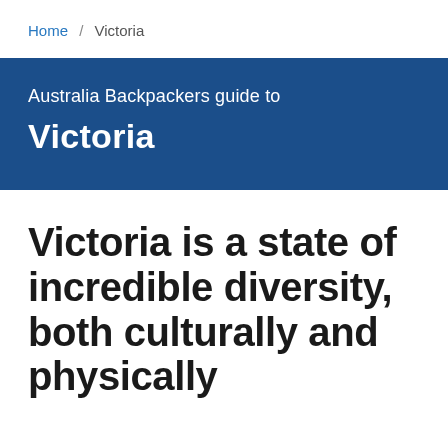Home / Victoria
Australia Backpackers guide to Victoria
Victoria is a state of incredible diversity, both culturally and physically